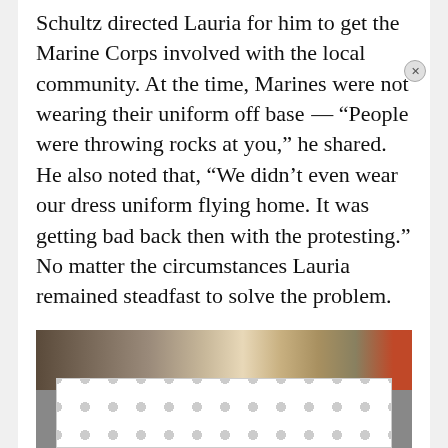Schultz directed Lauria for him to get the Marine Corps involved with the local community. At the time, Marines were not wearing their uniform off base — “People were throwing rocks at you,” he shared. He also noted that, “We didn’t even wear our dress uniform flying home. It was getting bad back then with the protesting.” No matter the circumstances Lauria remained steadfast to solve the problem.
[Figure (photo): A partial photograph showing people, with an advertisement overlay partially covering the bottom portion of the image.]